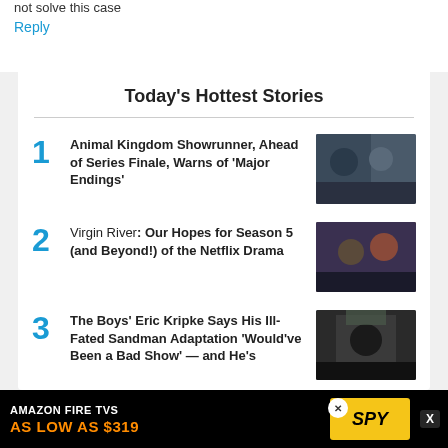not solve this case
Reply
Today's Hottest Stories
1 Animal Kingdom Showrunner, Ahead of Series Finale, Warns of 'Major Endings'
2 Virgin River: Our Hopes for Season 5 (and Beyond!) of the Netflix Drama
3 The Boys' Eric Kripke Says His Ill-Fated Sandman Adaptation 'Would've Been a Bad Show' — and He's
[Figure (photo): Advertisement banner: Amazon Fire TVs As Low As $319, SPY logo on yellow background]